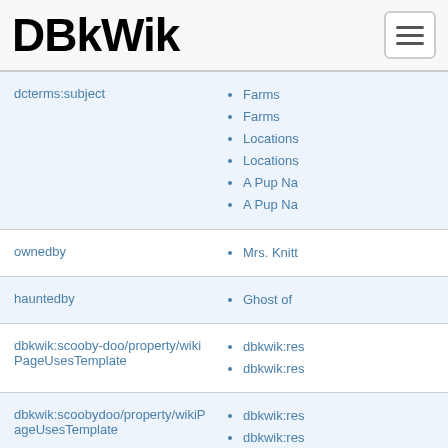DBkWik
dcterms:subject — Farms, Farms, Locations, Locations, A Pup Na, A Pup Na
ownedby — Mrs. Knitt
hauntedby — Ghost of
dbkwik:scooby-doo/property/wikiPageUsesTemplate — dbkwik:res, dbkwik:res
dbkwik:scoobydoo/property/wikiPageUsesTemplate — dbkwik:res, dbkwik:res
Partof — Coolsvil...